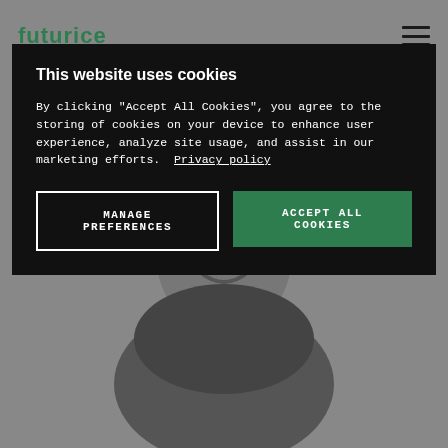[Figure (logo): Futurice logo in dark green text on grey background, top left]
[Figure (illustration): Hamburger menu icon, top right]
This website uses cookies
By clicking "Accept All Cookies", you agree to the storing of cookies on your device to enhance user experience, analyze site usage, and assist in our marketing efforts.  Privacy policy
MANAGE PREFERENCES
ACCEPT ALL COOKIES
[Figure (photo): Greyscale photo of a smiling person wearing a dark t-shirt, visible from chest up, background grey]